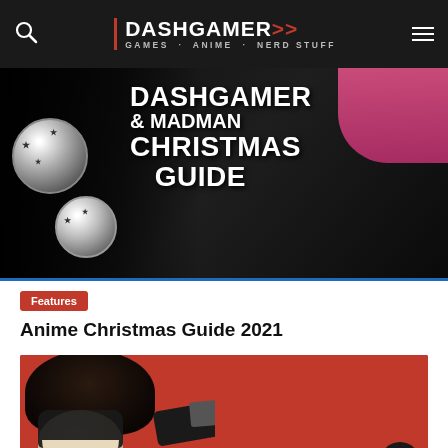DASHGAMER>> GAMES · ANIME · NERD STUFF
[Figure (illustration): DASHGAMER & MADMAN CHRISTMAS GUIDE banner image with anime characters and decorative Christmas ornaments in black and white, with pink figure at top right]
Features
Anime Christmas Guide 2021
[Figure (illustration): Anime character in a dark mask on a red background, reaching forward with one hand]